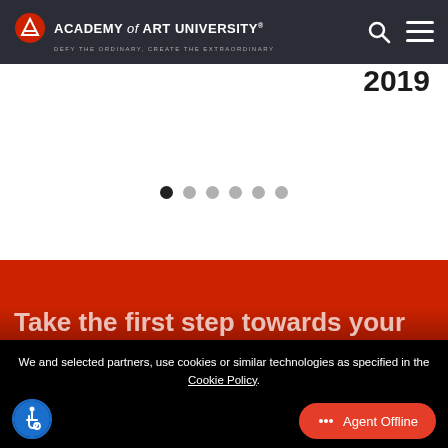[Figure (logo): Academy of Art University logo with triangle/A icon on dark nav bar, with tagline DEFY THE ORDINARY, CREATE THE EXTRAORDINARY]
2019
[Figure (other): Slider with 6 dot indicators, first dot active (dark), rest grey]
Take the first step towards your
We and selected partners, use cookies or similar technologies as specified in the Cookie Policy.
Cookies Settings
Accept Our Cookies
[Figure (other): Accessibility icon (wheelchair person in circle) and Agent Offline chat button]